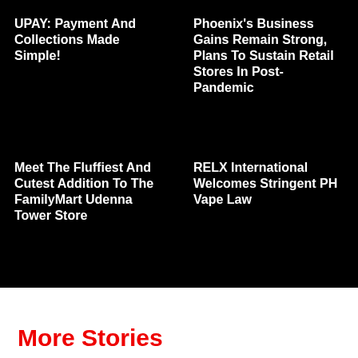UPAY: Payment And Collections Made Simple!
Phoenix's Business Gains Remain Strong, Plans To Sustain Retail Stores In Post-Pandemic
Meet The Fluffiest And Cutest Addition To The FamilyMart Udenna Tower Store
RELX International Welcomes Stringent PH Vape Law
More Stories